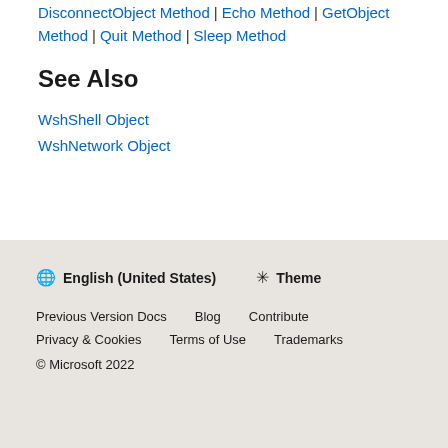DisconnectObject Method | Echo Method | GetObject Method | Quit Method | Sleep Method
See Also
WshShell Object
WshNetwork Object
English (United States)  Theme
Previous Version Docs  Blog  Contribute
Privacy & Cookies  Terms of Use  Trademarks
© Microsoft 2022